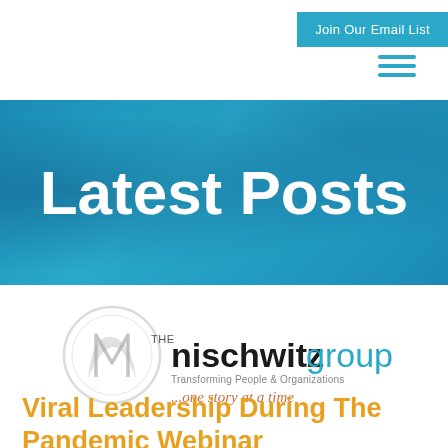Join Our Email List
Latest Posts
[Figure (logo): The Nischwitz Group logo — circular monogram mark with 'THE nischwitz group', tagline 'Transforming People & Organizations', and script text '...one story at a time']
Viral Leadership During The Pandemic Webinar